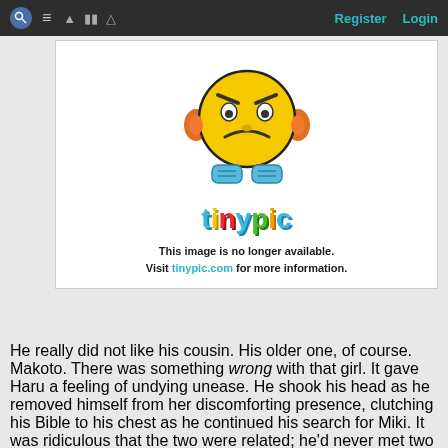Register  Login
[Figure (illustration): Tinypic.com placeholder image showing an angry yellow emoji character with orange ears and blue hands, with the tinypic logo below and text: 'This image is no longer available. Visit tinypic.com for more information.']
He really did not like his cousin. His older one, of course. Makoto. There was something wrong with that girl. It gave Haru a feeling of undying unease. He shook his head as he removed himself from her discomforting presence, clutching his Bible to his chest as he continued his search for Miki. It was ridiculous that the two were related; he'd never met two people whose personalities were at such contrast to each other. It didn't make any kind of sense. When he was younger, he used to fantasize that Makoto was adopted, and thus not related to him by